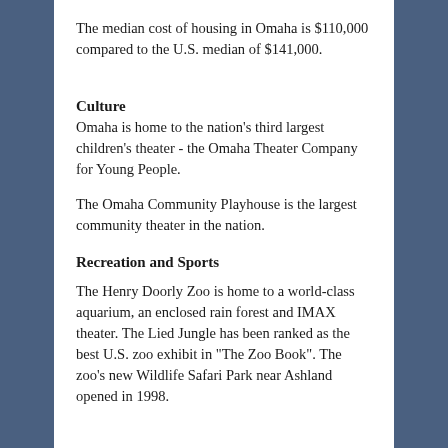The median cost of housing in Omaha is $110,000 compared to the U.S. median of $141,000.
Culture
Omaha is home to the nation's third largest children's theater - the Omaha Theater Company for Young People.
The Omaha Community Playhouse is the largest community theater in the nation.
Recreation and Sports
The Henry Doorly Zoo is home to a world-class aquarium, an enclosed rain forest and IMAX theater. The Lied Jungle has been ranked as the best U.S. zoo exhibit in "The Zoo Book". The zoo's new Wildlife Safari Park near Ashland opened in 1998.